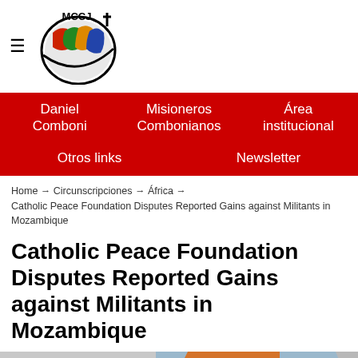[Figure (logo): MCCJ logo — globe with cross, colorful map design, text MCCJ above]
Daniel Comboni | Misioneros Combonianos | Área institucional | Otros links | Newsletter
Home → Circunscripciones → África → Catholic Peace Foundation Disputes Reported Gains against Militants in Mozambique
Catholic Peace Foundation Disputes Reported Gains against Militants in Mozambique
[Figure (map): Map showing Cabo Delgado region of Mozambique highlighted in orange, with surrounding areas in grey and blue (ocean)]